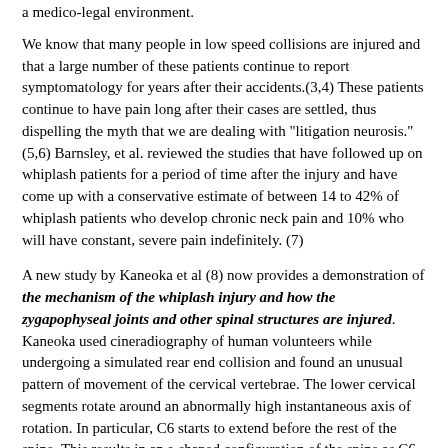a medico-legal environment.
We know that many people in low speed collisions are injured and that a large number of these patients continue to report symptomatology for years after their accidents.(3,4) These patients continue to have pain long after their cases are settled, thus dispelling the myth that we are dealing with "litigation neurosis." (5,6) Barnsley, et al. reviewed the studies that have followed up on whiplash patients for a period of time after the injury and have come up with a conservative estimate of between 14 to 42% of whiplash patients who develop chronic neck pain and 10% who will have constant, severe pain indefinitely. (7)
A new study by Kaneoka et al (8) now provides a demonstration of the mechanism of the whiplash injury and how the zygapophyseal joints and other spinal structures are injured. Kaneoka used cineradiography of human volunteers while undergoing a simulated rear end collision and found an unusual pattern of movement of the cervical vertebrae. The lower cervical segments rotate around an abnormally high instantaneous axis of rotation. In particular, C6 starts to extend before the rest of the spine. This results in an s-shaped configuration of the spine as C6 extends and the rest of the spine initially flexes. Then, as the rest of the cervical spine extends, this results in an extreme rotational torque at the C5/6 level. This results in a stretching of the anterior longitudinal ligament and forces the inferior facet of C5 to collide